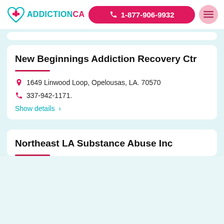ADDICTIONCA  1-877-906-9932
New Beginnings Addiction Recovery Ctr
1649 Linwood Loop, Opelousas, LA. 70570
337-942-1171.
Show details >
Northeast LA Substance Abuse Inc